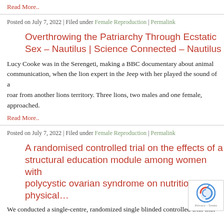Read More..
Posted on July 7, 2022 | Filed under Female Reproduction | Permalink
Overthrowing the Patriarchy Through Ecstatic Sex – Nautilus | Science Connected – Nautilus
Lucy Cooke was in the Serengeti, making a BBC documentary about animal communication, when the lion expert in the Jeep with her played the sound of a roar from another lions territory. Three lions, two males and one female, approached.
Read More..
Posted on July 7, 2022 | Filed under Female Reproduction | Permalink
A randomised controlled trial on the effects of a structural education module among women with polycystic ovarian syndrome on nutrition and physical…
We conducted a single-centre, randomized single blinded controlled trial that